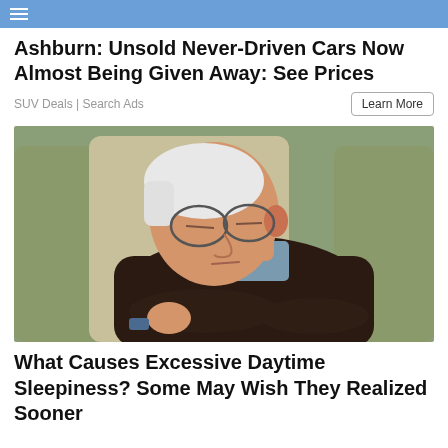≡
Ashburn: Unsold Never-Driven Cars Now Almost Being Given Away: See Prices
SUV Deals | Search Ads
[Figure (photo): An elderly man with white hair and glasses sleeping in a beige armchair, wearing a dark brown cable-knit sweater with arms folded]
What Causes Excessive Daytime Sleepiness? Some May Wish They Realized Sooner